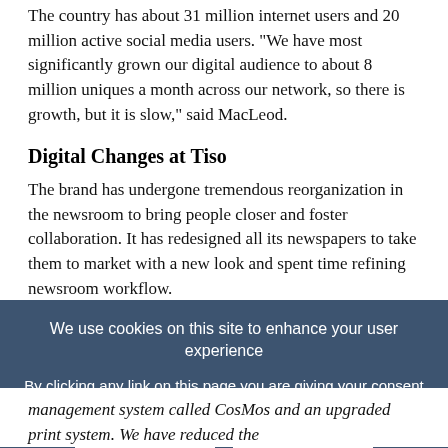The country has about 31 million internet users and 20 million active social media users. "We have most significantly grown our digital audience to about 8 million uniques a month across our network, so there is growth, but it is slow," said MacLeod.
Digital Changes at Tiso
The brand has undergone tremendous reorganization in the newsroom to bring people closer and foster collaboration. It has redesigned all its newspapers to take them to market with a new look and spent time refining newsroom workflow.
Tiso has built its own content management system (CMS). All editing is now done for the web and that content is subsequently
We use cookies on this site to enhance your user experience

By clicking any link on this page you are giving your consent for us to set cookies.

OK   No
management system called CosMos and an upgraded print system. We have reduced the